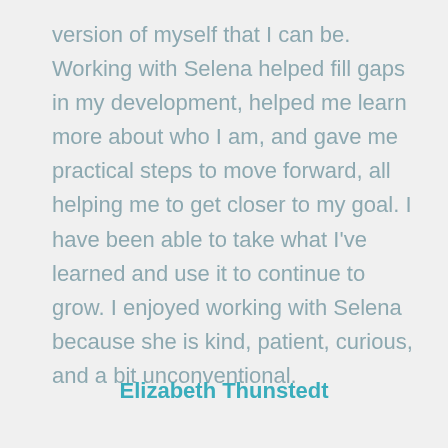version of myself that I can be. Working with Selena helped fill gaps in my development, helped me learn more about who I am, and gave me practical steps to move forward, all helping me to get closer to my goal. I have been able to take what I've learned and use it to continue to grow. I enjoyed working with Selena because she is kind, patient, curious, and a bit unconventional.
Elizabeth Thunstedt